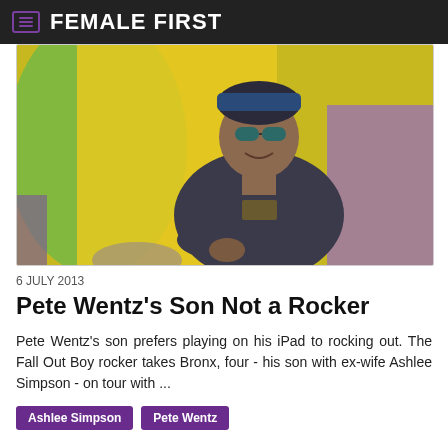FEMALE FIRST
[Figure (photo): Young man wearing sunglasses and a dark sweatshirt, smiling, standing in front of a colorful mural background]
6 JULY 2013
Pete Wentz's Son Not a Rocker
Pete Wentz's son prefers playing on his iPad to rocking out. The Fall Out Boy rocker takes Bronx, four - his son with ex-wife Ashlee Simpson - on tour with ...
Ashlee Simpson
Pete Wentz